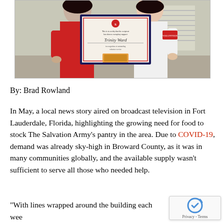[Figure (photo): Two women holding a framed certificate. The woman on the left wears red and holds the certificate (awarded to Trinity Ward). The woman on the right wears a white uniform. Photo taken indoors.]
By: Brad Rowland
In May, a local news story aired on broadcast television in Fort Lauderdale, Florida, highlighting the growing need for food to stock The Salvation Army's pantry in the area. Due to COVID-19, demand was already sky-high in Broward County, as it was in many communities globally, and the available supply wasn't sufficient to serve all those who needed help.
“With lines wrapped around the building each week and demand so incredibly high, we've been asking